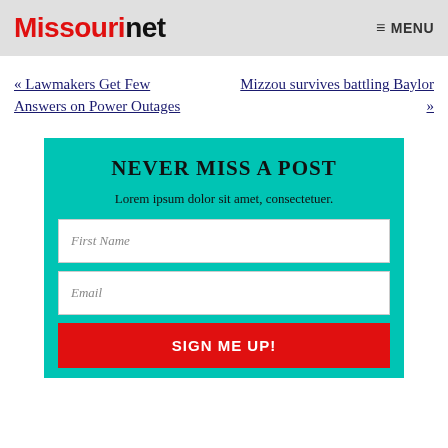Missourinet — MENU
« Lawmakers Get Few Answers on Power Outages
Mizzou survives battling Baylor »
NEVER MISS A POST
Lorem ipsum dolor sit amet, consectetuer.
First Name
Email
SIGN ME UP!